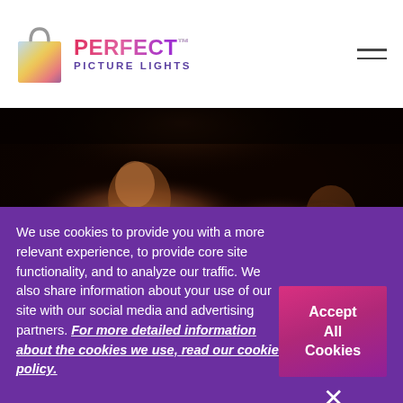[Figure (logo): Perfect Picture Lights logo with shopping bag icon and gradient text]
[Figure (photo): Dark oil painting showing figures in chiaroscuro style, appears to be a Caravaggio-style work]
We use cookies to provide you with a more relevant experience, to provide core site functionality, and to analyze our traffic. We also share information about your use of our site with our social media and advertising partners. For more detailed information about the cookies we use, read our cookie policy.
Accept All Cookies
×